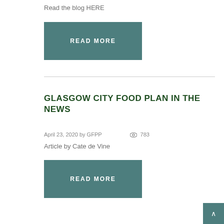Read the blog HERE
[Figure (other): READ MORE button (teal/dark green background, white uppercase text)]
GLASGOW CITY FOOD PLAN IN THE NEWS
April 23, 2020 by GFPP   👁 783
Article by Cate de Vine
[Figure (other): READ MORE button (teal/dark green background, white uppercase text)]
[Figure (other): Back to top button (teal, bottom right corner)]